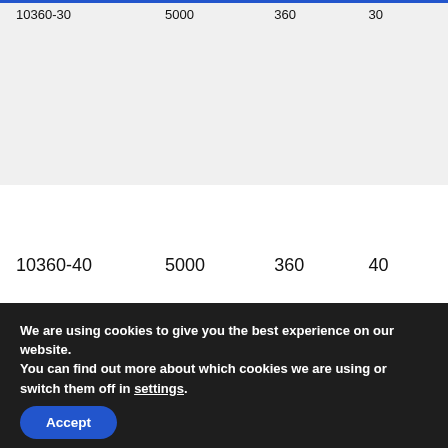| 10360-30 | 5000 | 360 | 30 |
| 10360-40 | 5000 | 360 | 40 |
We are using cookies to give you the best experience on our website.
You can find out more about which cookies we are using or switch them off in settings.
Accept